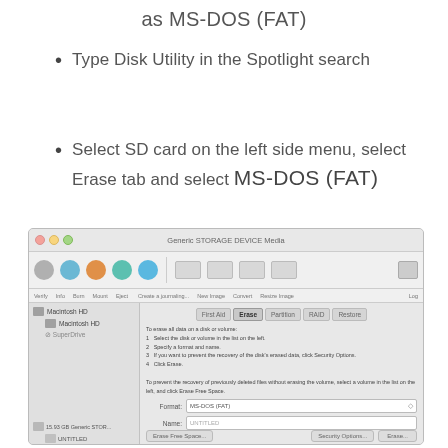as MS-DOS (FAT)
Type Disk Utility in the Spotlight search
Select SD card on the left side menu, select Erase tab and select MS-DOS (FAT)
[Figure (screenshot): Mac OS X Disk Utility window showing Generic STORAGE DEVICE Media with Erase tab selected, Format set to MS-DOS (FAT), Name set to UNTITLED. Sidebar shows Macintosh HD, Macintosh HD, SuperDrive, 15.93 GB Generic STOR..., and UNTITLED.]